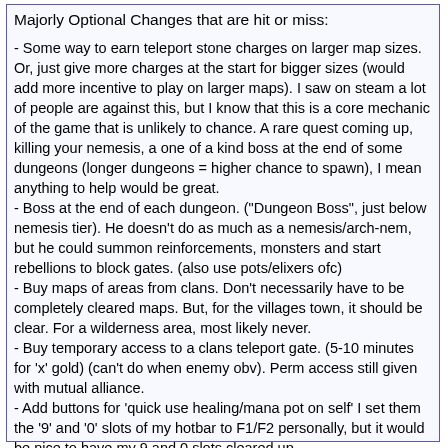Majorly Optional Changes that are hit or miss:
- Some way to earn teleport stone charges on larger map sizes. Or, just give more charges at the start for bigger sizes (would add more incentive to play on larger maps). I saw on steam a lot of people are against this, but I know that this is a core mechanic of the game that is unlikely to chance. A rare quest coming up, killing your nemesis, a one of a kind boss at the end of some dungeons (longer dungeons = higher chance to spawn), I mean anything to help would be great.
- Boss at the end of each dungeon. ("Dungeon Boss", just below nemesis tier). He doesn't do as much as a nemesis/arch-nem, but he could summon reinforcements, monsters and start rebellions to block gates. (also use pots/elixers ofc)
- Buy maps of areas from clans. Don't necessarily have to be completely cleared maps. But, for the villages town, it should be clear. For a wilderness area, most likely never.
- Buy temporary access to a clans teleport gate. (5-10 minutes for 'x' gold) (can't do when enemy obv). Perm access still given with mutual alliance.
- Add buttons for 'quick use healing/mana pot on self' I set them the '9' and '0' slots of my hotbar to F1/F2 personally, but it would be nice to have my 9 and 0 slots cleared up.
- Let me change my 1st slot. I'm not quite sure why this is locked. If you want to attack, you just click on a monster. :>
Recommended hotkey updates:
- I recommend F1/F2 being the healing/mana pot buttons